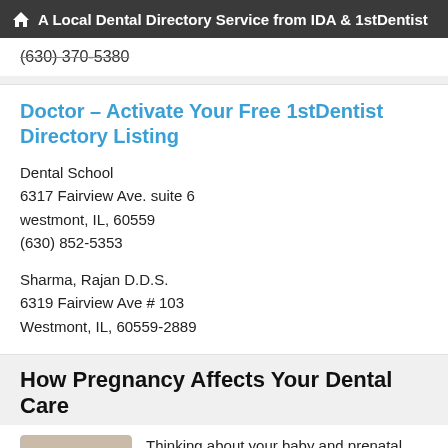A Local Dental Directory Service from IDA & 1stDentist
(630) 370-5380
Doctor – Activate Your Free 1stDentist Directory Listing
Dental School
6317 Fairview Ave. suite 6
westmont, IL, 60559
(630) 852-5353
Sharma, Rajan D.D.S.
6319 Fairview Ave # 103
Westmont, IL, 60559-2889
How Pregnancy Affects Your Dental Care
[Figure (photo): Photo of a woman looking upward, smiling, with dark hair]
Thinking about your baby and prenatal care is normal during pregnancy; however, thinking about your oral health and dental care may not be forefront on your mind, but dentistry is still very important. Women need to pay special